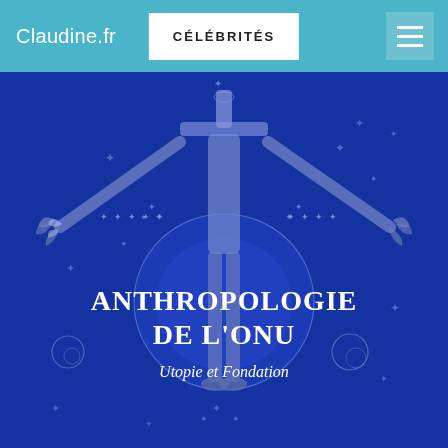Claudine.fr | CÉLÉBRITÉS
[Figure (illustration): Book cover for 'Anthropologie de l'ONU – Utopie et Fondation'. Dark blue background with a line-drawn figure of a human stretched wide, arms extended, standing atop a globe. Surrounded by decorative star and celestial motifs in light blue/white line art. Title text 'ANTHROPOLOGIE DE L'ONU' in large bold white serif, subtitle 'Utopie et Fondation' in medium white italic serif.]